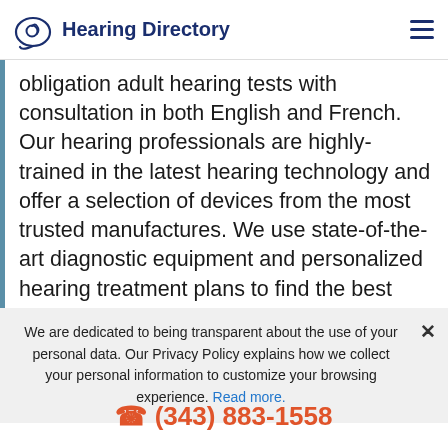Hearing Directory
obligation adult hearing tests with consultation in both English and French. Our hearing professionals are highly-trained in the latest hearing technology and offer a selection of devices from the most trusted manufactures. We use state-of-the-art diagnostic equipment and personalized hearing treatment plans to find the best solution that is right for you. Call us today to schedule your hearing test or to have your hearing aide serviced, we look forward to meeting you.
We are dedicated to being transparent about the use of your personal data. Our Privacy Policy explains how we collect your personal information to customize your browsing experience. Read more.
(343) 883-1558